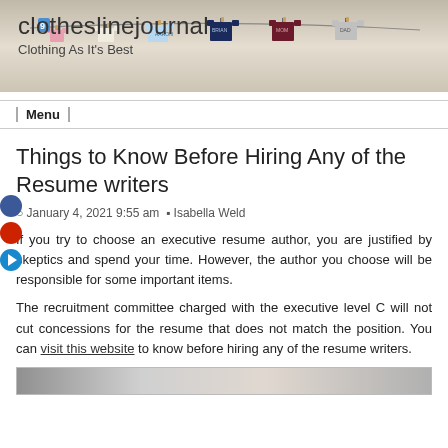[Figure (photo): Blog header image showing clothesline with mini clothing items hanging on it, with blog name 'clotheslinejournal' and tagline 'Clothing As It's Best']
Menu
Things to Know Before Hiring Any of the Resume writers
January 4, 2021 9:55 am  Isabella Weld
If you try to choose an executive resume author, you are justified by skeptics and spend your time. However, the author you choose will be responsible for some important items.
The recruitment committee charged with the executive level C will not cut concessions for the resume that does not match the position. You can visit this website to know before hiring any of the resume writers.
[Figure (photo): Partial image visible at bottom of page]